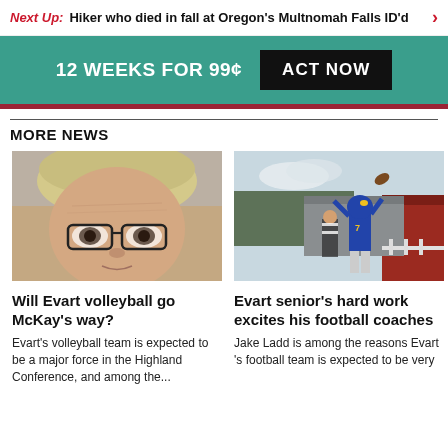Next Up: Hiker who died in fall at Oregon's Multnomah Falls ID'd
12 WEEKS FOR 99¢  ACT NOW
MORE NEWS
[Figure (photo): Close-up portrait of a woman with blonde hair and black glasses]
Will Evart volleyball go McKay's way?
Evart's volleyball team is expected to be a major force in the Highland Conference, and among the...
[Figure (photo): Football player in blue and gold uniform jumping with arms raised to catch or block a ball, outdoors near a red building]
Evart senior's hard work excites his football coaches
Jake Ladd is among the reasons Evart 's football team is expected to be very